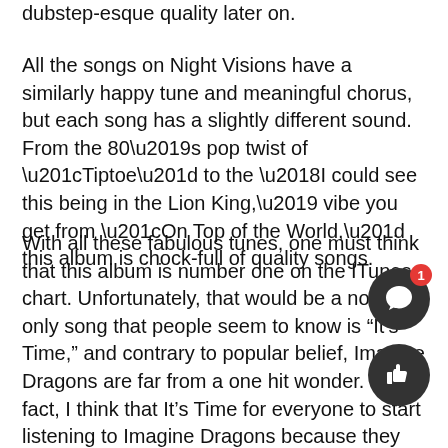dubstep-esque quality later on.
All the songs on Night Visions have a similarly happy tune and meaningful chorus, but each song has a slightly different sound.  From the 80’s pop twist of “Tiptoe” to the ‘I could see this being in the Lion King,’ vibe you get from “On Top of the World,” this album is chock-full of quality songs.
With all these fabulous tunes, one must think that this album is number one on the ITunes chart. Unfortunately, that would be a no. The only song that people seem to know is “It’s Time,” and contrary to popular belief, Imagine Dragons are far from a one hit wonder. In fact, I think that It’s Time for everyone to start listening to Imagine Dragons because they deserve some recognition.  It’s time.